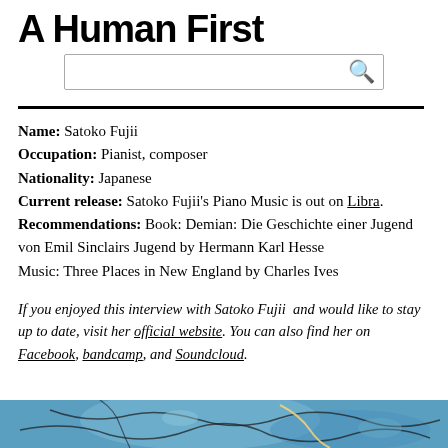A Human First
Name: Satoko Fujii
Occupation: Pianist, composer
Nationality: Japanese
Current release: Satoko Fujii's Piano Music is out on Libra.
Recommendations: Book: Demian: Die Geschichte einer Jugend von Emil Sinclairs Jugend by Hermann Karl Hesse
Music: Three Places in New England by Charles Ives
If you enjoyed this interview with Satoko Fujii and would like to stay up to date, visit her official website. You can also find her on Facebook, bandcamp, and Soundcloud.
[Figure (photo): Blue abstract image with dark line patterns, appearing to be an artistic or map-like photo]